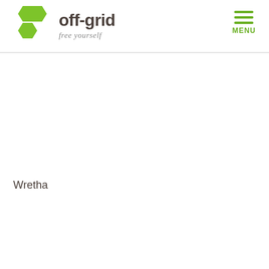[Figure (logo): off-grid free yourself logo with green hexagons and dark text]
[Figure (other): Hamburger menu icon with three green horizontal lines and MENU label in green]
Wretha